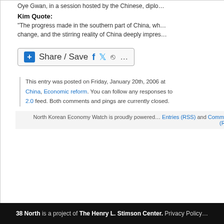Oye Gwan, in a session hosted by the Chinese, diplo…
Kim Quote:
“The progress made in the southern part of China, wh… change, and the stirring reality of China deeply impres…
[Figure (other): Share / Save social sharing button with Facebook, Twitter, and more icons]
This entry was posted on Friday, January 20th, 2006 at… China, Economic reform. You can follow any responses to… 2.0 feed. Both comments and pings are currently closed.
Comments are closed.
North Korean Economy Watch is proudly powered… Entries (RSS) and Comments (RS…
38 North is a project of The Henry L. Stimson Center. Privacy Policy